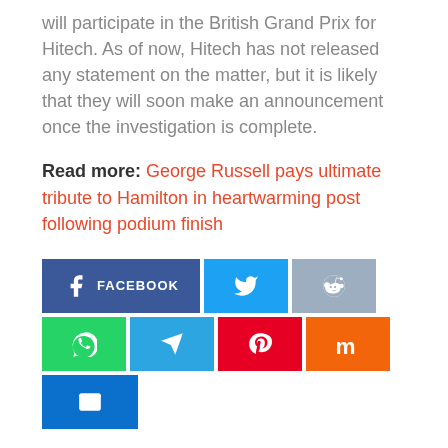will participate in the British Grand Prix for Hitech. As of now, Hitech has not released any statement on the matter, but it is likely that they will soon make an announcement once the investigation is complete.
Read more: George Russell pays ultimate tribute to Hamilton in heartwarming post following podium finish
[Figure (infographic): Row of social media share buttons: Facebook (dark blue with f icon and FACEBOOK label), Twitter (light blue with bird icon), Reddit (grey-blue with alien icon), WhatsApp (green with phone icon), Telegram (blue with paper plane icon), Pinterest (red with P icon), Mix (orange with m icon), and Email (blue with envelope icon) on second row.]
RELATED POSTS